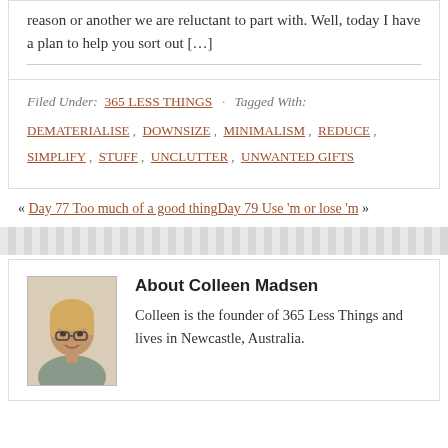reason or another we are reluctant to part with. Well, today I have a plan to help you sort out […]
Filed Under: 365 LESS THINGS · Tagged With: DEMATERIALISE , DOWNSIZE , MINIMALISM , REDUCE , SIMPLIFY , STUFF , UNCLUTTER , UNWANTED GIFTS
« Day 77 Too much of a good thing Day 79 Use 'm or lose 'm »
About Colleen Madsen
Colleen is the founder of 365 Less Things and lives in Newcastle, Australia.